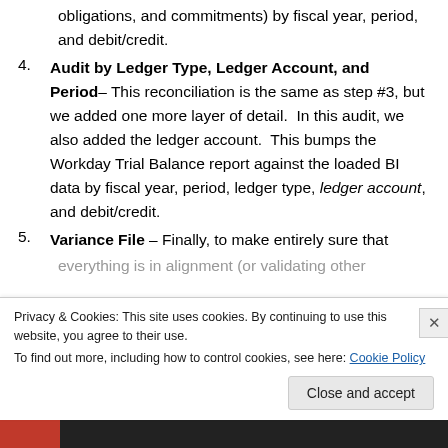obligations, and commitments) by fiscal year, period, and debit/credit.
Audit by Ledger Type, Ledger Account, and Period– This reconciliation is the same as step #3, but we added one more layer of detail. In this audit, we also added the ledger account. This bumps the Workday Trial Balance report against the loaded BI data by fiscal year, period, ledger type, ledger account, and debit/credit.
Variance File – Finally, to make entirely sure that
Privacy & Cookies: This site uses cookies. By continuing to use this website, you agree to their use. To find out more, including how to control cookies, see here: Cookie Policy